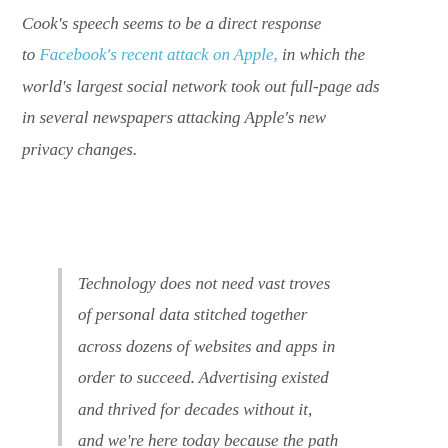Cook's speech seems to be a direct response to Facebook's recent attack on Apple, in which the world's largest social network took out full-page ads in several newspapers attacking Apple's new privacy changes.
Technology does not need vast troves of personal data stitched together across dozens of websites and apps in order to succeed. Advertising existed and thrived for decades without it, and we're here today because the path of least resistance is rarely the path of